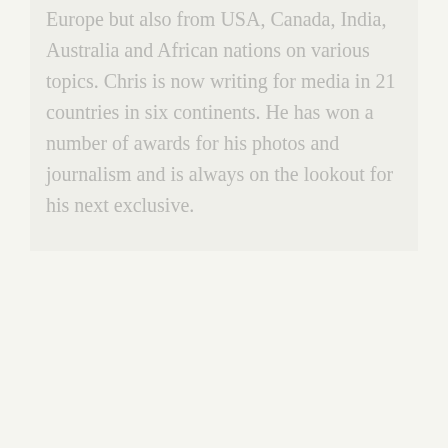Europe but also from USA, Canada, India, Australia and African nations on various topics. Chris is now writing for media in 21 countries in six continents. He has won a number of awards for his photos and journalism and is always on the lookout for his next exclusive.